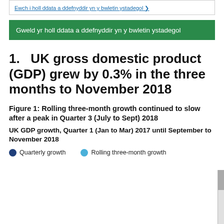Ewch i holl ddata a ddefnyddir yn y bwletin ystadegol
Gweld yr holl ddata a ddefnyddir yn y bwletin ystadegol
1.   UK gross domestic product (GDP) grew by 0.3% in the three months to November 2018
Figure 1: Rolling three-month growth continued to slow after a peak in Quarter 3 (July to Sept) 2018
UK GDP growth, Quarter 1 (Jan to Mar) 2017 until September to November 2018
Quarterly growth   Rolling three-month growth